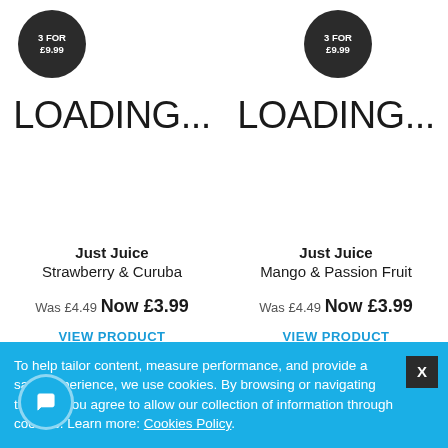[Figure (other): Dark circular badge with text '3 FOR £9.99' for product 1 (Just Juice Strawberry & Curuba)]
LOADING...
Just Juice
Strawberry & Curuba
Was £4.49 Now £3.99
VIEW PRODUCT
[Figure (other): Dark circular badge with text '3 FOR £9.99' for product 2 (Just Juice Mango & Passion Fruit)]
LOADING...
Just Juice
Mango & Passion Fruit
Was £4.49 Now £3.99
VIEW PRODUCT
To help tailor content, measure performance, and provide a safer experience, we use cookies. By browsing or navigating the site, you agree to allow our collection of information through cookies. Learn more: Cookies Policy.